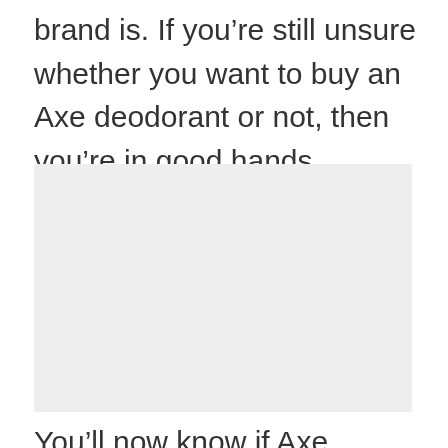brand is. If you’re still unsure whether you want to buy an Axe deodorant or not, then you’re in good hands.
[Figure (photo): A blank/placeholder light gray image block]
You’ll now know if Axe deodorant is